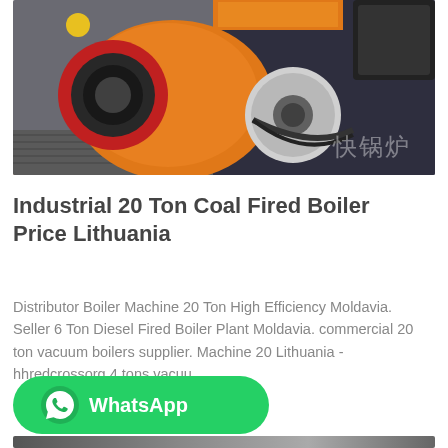[Figure (photo): Industrial boiler machine with orange housing and mechanical components, Chinese text partially visible in background]
Industrial 20 Ton Coal Fired Boiler Price Lithuania
Distributor Boiler Machine 20 Ton High Efficiency Moldavia. Seller 6 Ton Diesel Fired Boiler Plant Moldavia. commercial 20 ton vacuum boilers supplier. Machine 20 Lithuania - hhredcrossorg 4 tons vacuu...
[Figure (other): WhatsApp contact button with green background and WhatsApp logo]
[Figure (photo): Bottom portion of another industrial equipment image, partially visible]